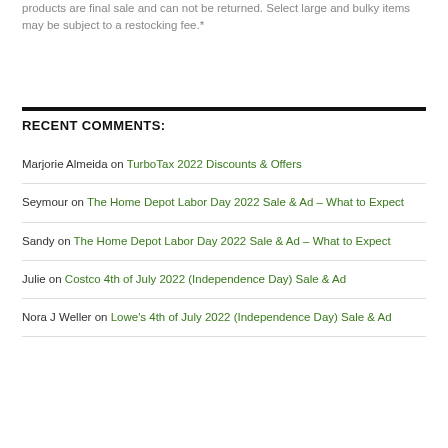products are final sale and can not be returned. Select large and bulky items may be subject to a restocking fee.*
RECENT COMMENTS:
Marjorie Almeida on TurboTax 2022 Discounts & Offers
Seymour on The Home Depot Labor Day 2022 Sale & Ad – What to Expect
Sandy on The Home Depot Labor Day 2022 Sale & Ad – What to Expect
Julie on Costco 4th of July 2022 (Independence Day) Sale & Ad
Nora J Weller on Lowe's 4th of July 2022 (Independence Day) Sale & Ad